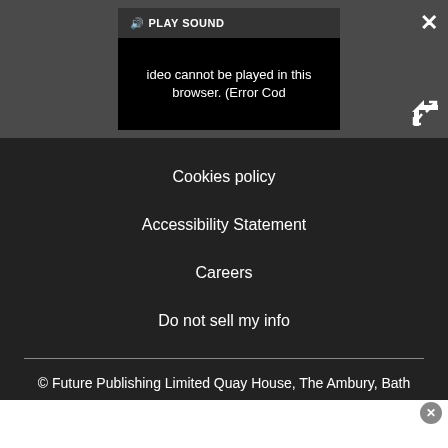[Figure (screenshot): Video player showing error message: 'Video cannot be played in this browser. (Error Cod' with a PLAY SOUND button and speaker icon, close button (×) and expand button in top-right of the dark toolbar overlay]
Cookies policy
Accessibility Statement
Careers
Do not sell my info
© Future Publishing Limited Quay House, The Ambury, Bath